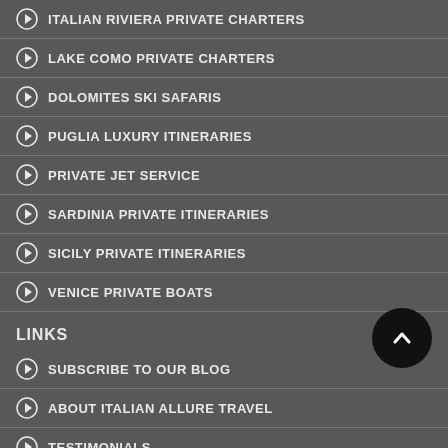ITALIAN RIVIERA PRIVATE CHARTERS
LAKE COMO PRIVATE CHARTERS
DOLOMITES SKI SAFARIS
PUGLIA LUXURY ITINERARIES
PRIVATE JET SERVICE
SARDINIA PRIVATE ITINERARIES
SICILY PRIVATE ITINERARIES
VENICE PRIVATE BOATS
LINKS
SUBSCRIBE TO OUR BLOG
ABOUT ITALIAN ALLURE TRAVEL
TESTIMONIALS
SERVICES
CONTACT US